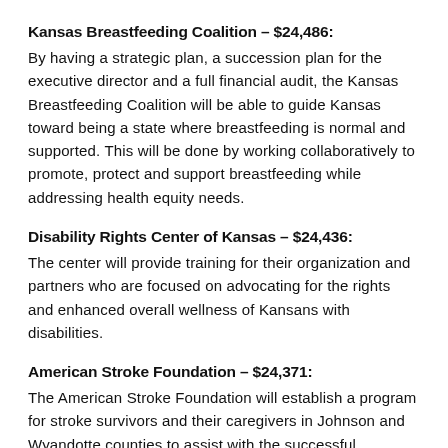Kansas Breastfeeding Coalition – $24,486:
By having a strategic plan, a succession plan for the executive director and a full financial audit, the Kansas Breastfeeding Coalition will be able to guide Kansas toward being a state where breastfeeding is normal and supported. This will be done by working collaboratively to promote, protect and support breastfeeding while addressing health equity needs.
Disability Rights Center of Kansas – $24,436:
The center will provide training for their organization and partners who are focused on advocating for the rights and enhanced overall wellness of Kansans with disabilities.
American Stroke Foundation – $24,371:
The American Stroke Foundation will establish a program for stroke survivors and their caregivers in Johnson and Wyandotte counties to assist with the successful navigation of the healthcare system and reintegration to home and community activities.